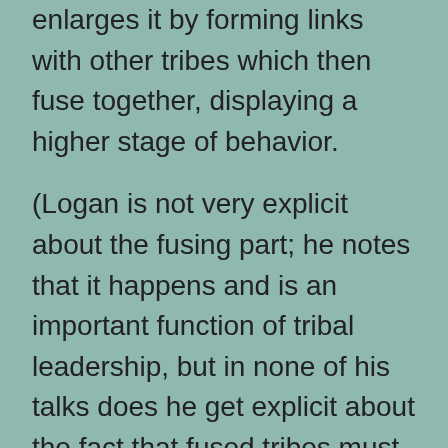enlarges it by forming links with other tribes which then fuse together, displaying a higher stage of behavior.
(Logan is not very explicit about the fusing part; he notes that it happens and is an important function of tribal leadership, but in none of his talks does he get explicit about the fact that fused tribes must frequently crack the Dunbar limit. I mean, if a prophet fuses two large and individually successful tribes that are each hanging out near the Dunbar limit of population, this has to happen.)
So, thinking about this in the context of the